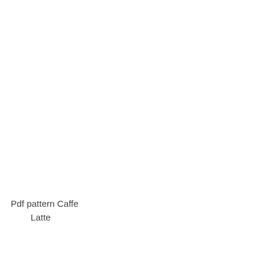Pdf pattern Caffe
        Latte